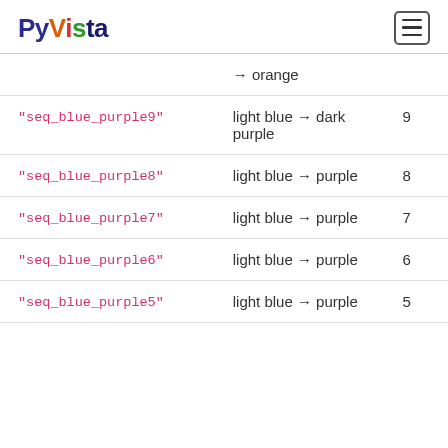PyVista
| Name | Description | N |
| --- | --- | --- |
| → orange |  |  |
| "seq_blue_purple9" | light blue → dark purple | 9 |
| "seq_blue_purple8" | light blue → purple | 8 |
| "seq_blue_purple7" | light blue → purple | 7 |
| "seq_blue_purple6" | light blue → purple | 6 |
| "seq_blue_purple5" | light blue → purple | 5 |